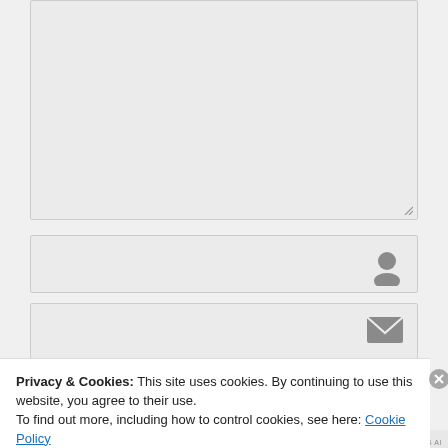[Figure (screenshot): A textarea input field with light gray background and resize handle in bottom-right corner]
[Figure (screenshot): A text input field with a user/person icon on the right side]
[Figure (screenshot): A text input field with an envelope/email icon on the right side]
Privacy & Cookies: This site uses cookies. By continuing to use this website, you agree to their use.
To find out more, including how to control cookies, see here: Cookie Policy
Close and accept